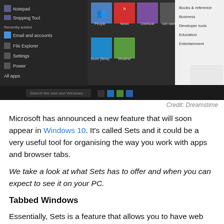[Figure (screenshot): Windows 10 Start Menu screenshot showing tiles, apps list, taskbar, and a Store category panel on the right]
Credit: Dreamstime
Microsoft has announced a new feature that will soon appear in Windows 10. It's called Sets and it could be a very useful tool for organising the way you work with apps and browser tabs.
We take a look at what Sets has to offer and when you can expect to see it on your PC.
Tabbed Windows
Essentially, Sets is a feature that allows you to have web